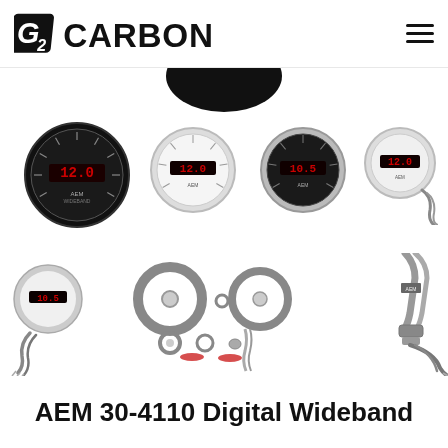G2 CARBON
[Figure (photo): Product page for AEM 30-4110 Digital Wideband showing multiple gauge variants (black and white face) and sensor/kit components]
AEM 30-4110 Digital Wideband